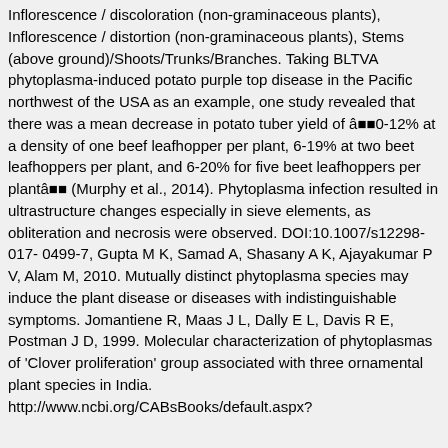Inflorescence / discoloration (non-graminaceous plants), Inflorescence / distortion (non-graminaceous plants), Stems (above ground)/Shoots/Trunks/Branches. Taking BLTVA phytoplasma-induced potato purple top disease in the Pacific northwest of the USA as an example, one study revealed that there was a mean decrease in potato tuber yield of ââ€0-12% at a density of one beef leafhopper per plant, 6-19% at two beet leafhoppers per plant, and 6-20% for five beet leafhoppers per plantââ€ (Murphy et al., 2014). Phytoplasma infection resulted in ultrastructure changes especially in sieve elements, as obliteration and necrosis were observed. DOI:10.1007/s12298-017-0499-7, Gupta M K, Samad A, Shasany A K, Ajayakumar P V, Alam M, 2010. Mutually distinct phytoplasma species may induce the plant disease or diseases with indistinguishable symptoms. Jomantiene R, Maas J L, Dally E L, Davis R E, Postman J D, 1999. Molecular characterization of phytoplasmas of 'Clover proliferation' group associated with three ornamental plant species in India. http://www.ncbi.org/CABsBooks/default.aspx?